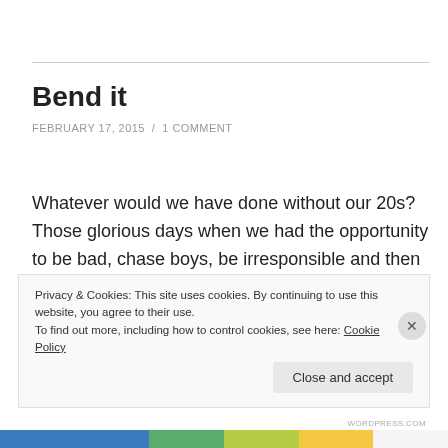Bend it
FEBRUARY 17, 2015 / 1 COMMENT
Whatever would we have done without our 20s?  Those glorious days when we had the opportunity to be bad, chase boys, be irresponsible and then make our way home.  All within reason of course.  Initially I was going to say within the limits of not hurting people but who
Privacy & Cookies: This site uses cookies. By continuing to use this website, you agree to their use.
To find out more, including how to control cookies, see here: Cookie Policy
Close and accept